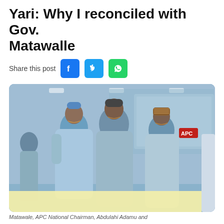Yari: Why I reconciled with Gov. Matawalle
Share this post
[Figure (photo): Three Nigerian politicians in traditional attire standing together smiling in front of an APC party backdrop. An APC sign is visible on the right. A yellow advertisement bar overlays the bottom portion of the image.]
Matawale, APC National Chairman, Abdulahi Adamu and